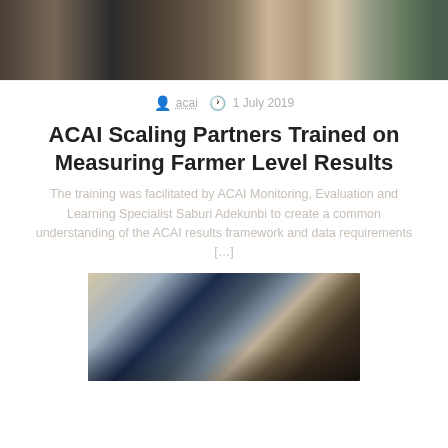[Figure (photo): Group of people at a meeting or training event, cropped at top]
acai  1 July 2019
ACAI Scaling Partners Trained on Measuring Farmer Level Results
The training was facilitated by ACAI Monitoring, Evaluation and Learning Specialist Saburi Adekunbi to create a common understanding of the ACAI results framework and data requirements […]
[Figure (photo): Industrial agricultural processing equipment with conveyor belt, worker visible in foreground]